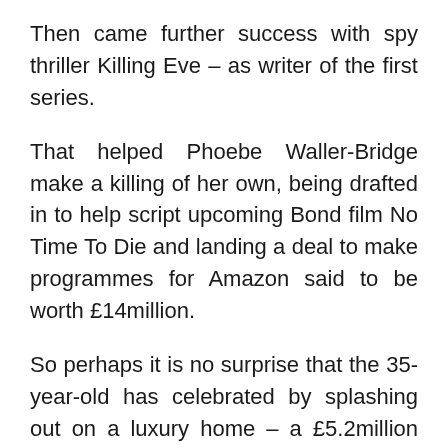Then came further success with spy thriller Killing Eve – as writer of the first series.
That helped Phoebe Waller-Bridge make a killing of her own, being drafted in to help script upcoming Bond film No Time To Die and landing a deal to make programmes for Amazon said to be worth £14million.
So perhaps it is no surprise that the 35-year-old has celebrated by splashing out on a luxury home – a £5.2million four-bedroom property in London.
The Victorian house, which neighbours a